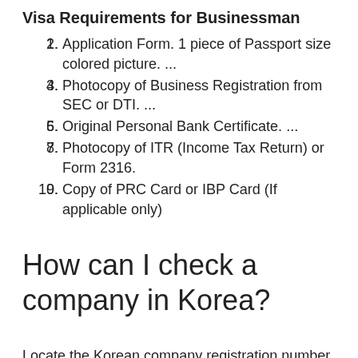Visa Requirements for Businessman
Application Form. 1 piece of Passport size colored picture. ...
Photocopy of Business Registration from SEC or DTI. ...
Original Personal Bank Certificate. ...
Photocopy of ITR (Income Tax Return) or Form 2316.
Copy of PRC Card or IBP Card (If applicable only)
How can I check a company in Korea?
Locate the Korean company registration number. Issuance a Korean company registration certificate from the court.